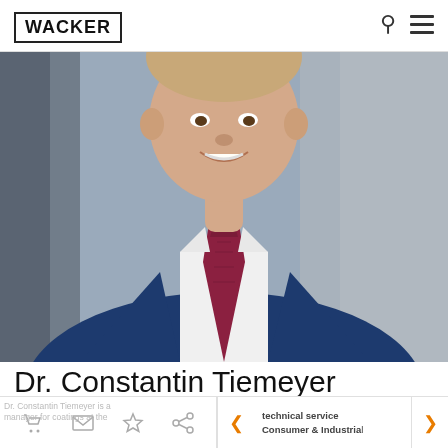WACKER
[Figure (photo): Professional headshot of Dr. Constantin Tiemeyer wearing a navy blue suit and dark red/burgundy tie with white shirt, photographed against a grey background. The photo shows him from the chest up, smiling.]
Dr. Constantin Tiemeyer
Dr. Constantin Tiemeyer is a technical service manager for coatings at the Consumer & Industrial